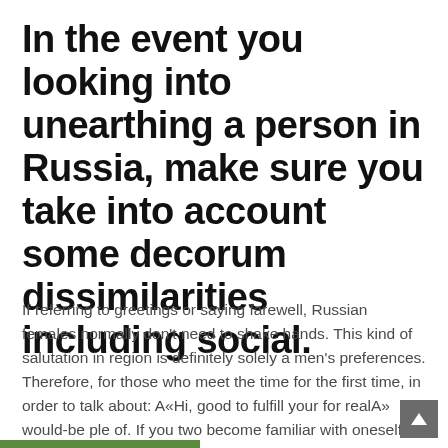In the event you looking into unearthing a person in Russia, make sure you take into account some decorum dissimilarities including social.
If referring to greetings or saying farewell, Russian females normally don't need to shake hands. This kind of salutation in region is definitely solely a men's preferences. Therefore, for those who meet the time for the first time, in order to talk about: A«Hi, good to fulfill your for realA» would-be ple of. If you two become familiar with oneself more effecti